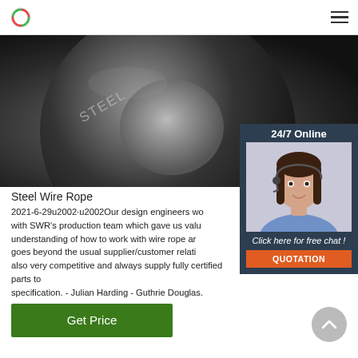Steel Wire Rope - company website header
[Figure (photo): Close-up photo of a steel wire rope thimble/ring, dark metallic finish with stamped text]
[Figure (photo): 24/7 Online chat widget with woman customer service agent wearing headset, smiling]
Steel Wire Rope
2021-6-29u2002·u2002Our design engineers worked with SWR's production team which gave us valuable understanding of how to work with wire rope and goes beyond the usual supplier/customer relationship. also very competitive and always supply fully certified parts to specification. - Julian Harding - Guthrie Douglas.
Click here for free chat !
QUOTATION
Get Price